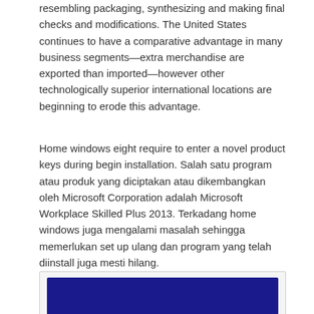resembling packaging, synthesizing and making final checks and modifications. The United States continues to have a comparative advantage in many business segments—extra merchandise are exported than imported—however other technologically superior international locations are beginning to erode this advantage.
Home windows eight require to enter a novel product keys during begin installation. Salah satu program atau produk yang diciptakan atau dikembangkan oleh Microsoft Corporation adalah Microsoft Workplace Skilled Plus 2013. Terkadang home windows juga mengalami masalah sehingga memerlukan set up ulang dan program yang telah diinstall juga mesti hilang.
[Figure (screenshot): Screenshot of a Windows installation screen with dark blue/purple background]